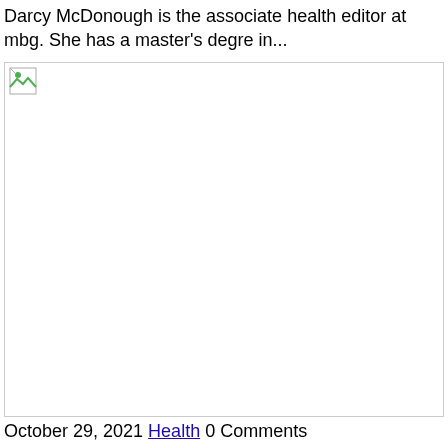Darcy McDonough is the associate health editor at mbg. She has a master's degre in...
[Figure (photo): A large image placeholder with a broken image icon in the top-left corner. The image area is blank/white with a light gray border.]
October 29, 2021 Health 0 Comments